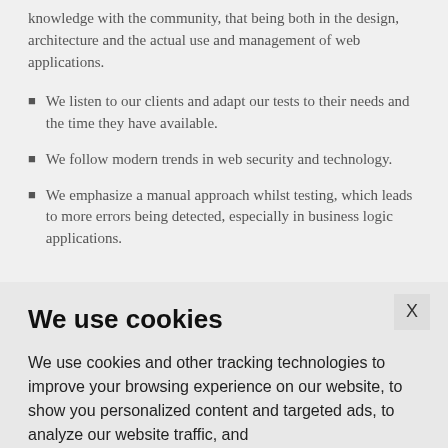knowledge with the community, that being both in the design, architecture and the actual use and management of web applications.
We listen to our clients and adapt our tests to their needs and the time they have available.
We follow modern trends in web security and technology.
We emphasize a manual approach whilst testing, which leads to more errors being detected, especially in business logic applications.
We use cookies
We use cookies and other tracking technologies to improve your browsing experience on our website, to show you personalized content and targeted ads, to analyze our website traffic, and